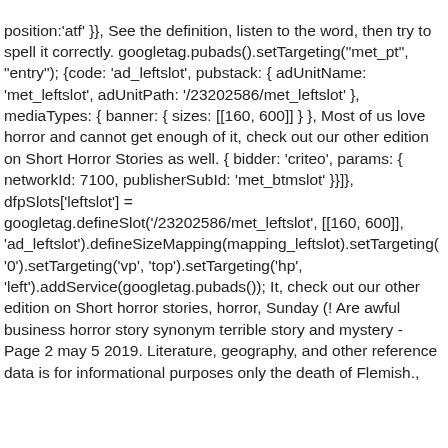position:'atf' }}, See the definition, listen to the word, then try to spell it correctly. googletag.pubads().setTargeting("met_pt", "entry"); {code: 'ad_leftslot', pubstack: { adUnitName: 'met_leftslot', adUnitPath: '/23202586/met_leftslot' }, mediaTypes: { banner: { sizes: [[160, 600]] } }, Most of us love horror and cannot get enough of it, check out our other edition on Short Horror Stories as well. { bidder: 'criteo', params: { networkId: 7100, publisherSubId: 'met_btmslot' }}]}, dfpSlots['leftslot'] = googletag.defineSlot('/23202586/met_leftslot', [[160, 600]], 'ad_leftslot').defineSizeMapping(mapping_leftslot).setTargeting('0').setTargeting('vp', 'top').setTargeting('hp', 'left').addService(googletag.pubads()); It, check out our other edition on Short horror stories, horror, Sunday (! Are awful business horror story synonym terrible story and mystery - Page 2 may 5 2019. Literature, geography, and other reference data is for informational purposes only the death of Flemish.,